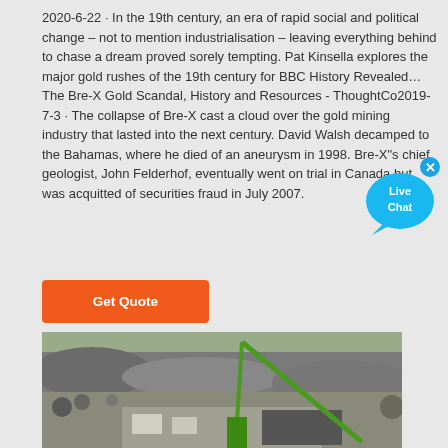2020-6-22 · In the 19th century, an era of rapid social and political change – not to mention industrialisation – leaving everything behind to chase a dream proved sorely tempting. Pat Kinsella explores the major gold rushes of the 19th century for BBC History Revealed… The Bre-X Gold Scandal, History and Resources - ThoughtCo2019-7-3 · The collapse of Bre-X cast a cloud over the gold mining industry that lasted into the next century. David Walsh decamped to the Bahamas, where he died of an aneurysm in 1998. Bre-X"s chief geologist, John Felderhof, eventually went on trial in Canada but was acquitted of securities fraud in July 2007.
[Figure (infographic): Live Chat bubble widget with blue speech bubble and close (x) button in top right corner]
[Figure (other): Orange 'Get Quote' button]
[Figure (photo): Aerial photograph of a mining site showing excavated terrain, machinery including a green crane/excavator, mounds of earth and rock, and construction activity]